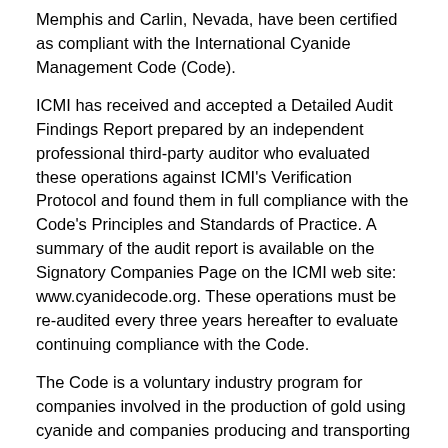Memphis and Carlin, Nevada, have been certified as compliant with the International Cyanide Management Code (Code).
ICMI has received and accepted a Detailed Audit Findings Report prepared by an independent professional third-party auditor who evaluated these operations against ICMI's Verification Protocol and found them in full compliance with the Code's Principles and Standards of Practice. A summary of the audit report is available on the Signatory Companies Page on the ICMI web site: www.cyanidecode.org. These operations must be re-audited every three years hereafter to evaluate continuing compliance with the Code.
The Code is a voluntary industry program for companies involved in the production of gold using cyanide and companies producing and transporting this cyanide. It was developed under the aegis of the United Nations Environment Programme by a multi-stakeholder Steering Committee. The Code is intended to complement an operation's existing obligation to comply with the applicable laws and regulations of the political jurisdictions in which the operation is located.